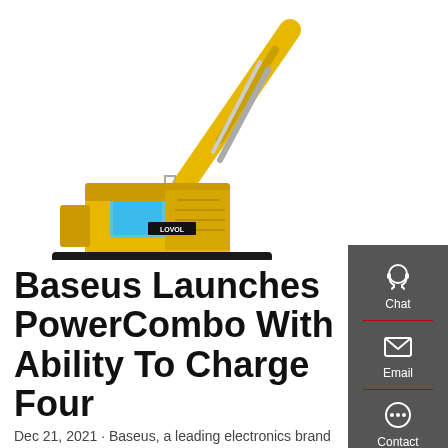[Figure (photo): Yellow LOVOL crawler excavator on white background, showing full machine with raised arm and bucket]
Baseus Launches PowerCombo With Ability To Charge Four
Dec 21, 2021 · Baseus, a leading electronics brand